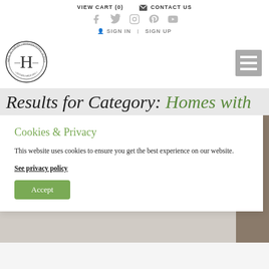VIEW CART (0)   CONTACT US
[Figure (logo): Herbal Academy International School circular logo with letter H in center, established 2011]
Results for Category: Homes with
Cookies & Privacy
This website uses cookies to ensure you get the best experience on our website.
See privacy policy
Accept